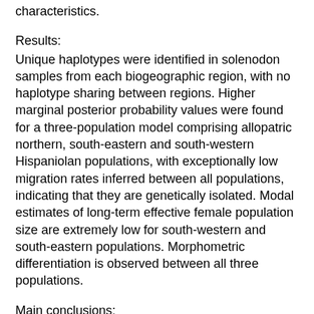characteristics.
Results:
Unique haplotypes were identified in solenodon samples from each biogeographic region, with no haplotype sharing between regions. Higher marginal posterior probability values were found for a three-population model comprising allopatric northern, south-eastern and south-western Hispaniolan populations, with exceptionally low migration rates inferred between all populations, indicating that they are genetically isolated. Modal estimates of long-term effective female population size are extremely low for south-western and south-eastern populations. Morphometric differentiation is observed between all three populations.
Main conclusions:
Evolutionary differentiation of Hispaniolan solenodons into three distinct populations is congruent with phylogenetic patterns observed in several other Hispaniolan species, with population isolation possibly associated with past marine transgression. We interpret these populations as distinct